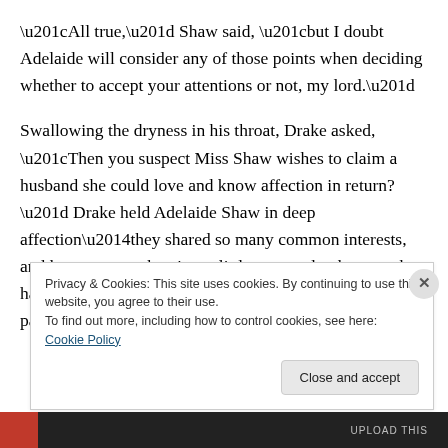“All true,” Shaw said, “but I doubt Adelaide will consider any of those points when deciding whether to accept your attentions or not, my lord.”
Swallowing the dryness in his throat, Drake asked, “Then you suspect Miss Shaw wishes to claim a husband she could love and know affection in return?” Drake held Adelaide Shaw in deep affection—they shared so many common interests, and he was more than just a little attracted to her; yet, he had never thought he would marry for love. His parents’ marriage had been one of
Privacy & Cookies: This site uses cookies. By continuing to use this website, you agree to their use.
To find out more, including how to control cookies, see here: Cookie Policy
Close and accept